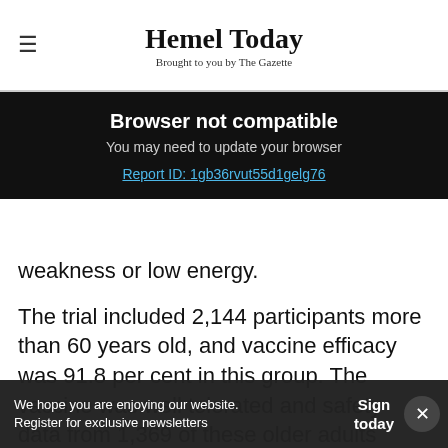Hemel Today — Brought to you by The Gazette
Browser not compatible
You may need to update your browser
Report ID: 1gb36rvut55d1gelg76
weakness or low energy.
The trial included 2,144 participants more than 60 years old, and vaccine efficacy was 91.8 per cent in this group. The vaccine was well tolerated and safety data from 1,369 of these older adults found that the most common
We hope you are enjoying our website. Register for exclusive newsletters
Sign today